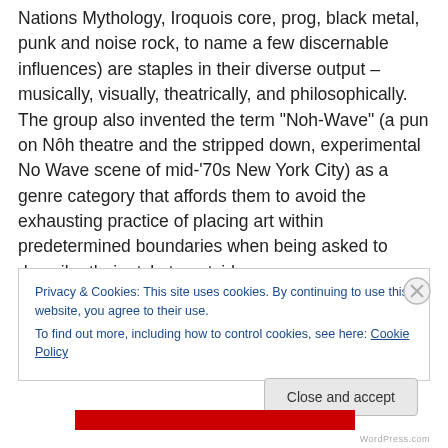Nations Mythology, Iroquois core, prog, black metal, punk and noise rock, to name a few discernable influences) are staples in their diverse output – musically, visually, theatrically, and philosophically. The group also invented the term “Noh-Wave” (a pun on Nôh theatre and the stripped down, experimental No Wave scene of mid-‘70s New York City) as a genre category that affords them to avoid the exhausting practice of placing art within predetermined boundaries when being asked to describe their style to outsiders.
Privacy & Cookies: This site uses cookies. By continuing to use this website, you agree to their use.
To find out more, including how to control cookies, see here: Cookie Policy